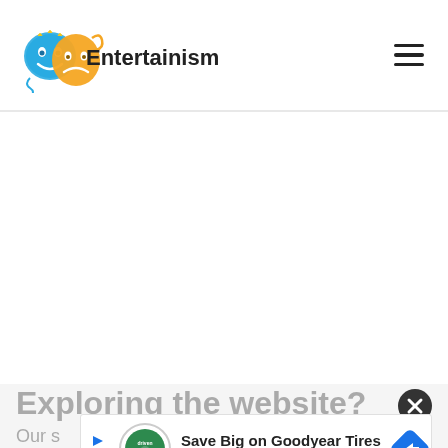Entertainism (logo with theater masks) — navigation header
[Figure (other): Large blank white advertisement placeholder area]
Exploring the website?
Our s[ite...]
[Figure (other): Ad banner: Save Big on Goodyear Tires — Virginia Tire & Auto of Ashburn, with DrivenAuto logo and navigation arrow icon]